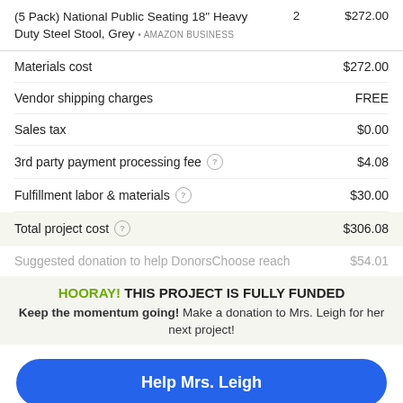| Item | Qty | Price |
| --- | --- | --- |
| (5 Pack) National Public Seating 18" Heavy Duty Steel Stool, Grey • AMAZON BUSINESS | 2 | $272.00 |
| Materials cost |  | $272.00 |
| Vendor shipping charges |  | FREE |
| Sales tax |  | $0.00 |
| 3rd party payment processing fee |  | $4.08 |
| Fulfillment labor & materials |  | $30.00 |
| Total project cost |  | $306.08 |
| Suggested donation to help DonorsChoose reach |  | $54.01 |
HOORAY! THIS PROJECT IS FULLY FUNDED
Keep the momentum going! Make a donation to Mrs. Leigh for her next project!
Help Mrs. Leigh